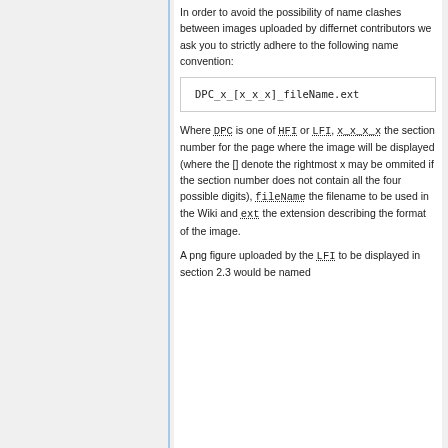In order to avoid the possibility of name clashes between images uploaded by differnet contributors we ask you to strictly adhere to the following name convention:
Where DPC is one of HFI or LFI, x_x_x_x the section number for the page where the image will be displayed (where the [] denote the rightmost x may be ommited if the section number does not contain all the four possible digits), fileName the filename to be used in the Wiki and ext the extension describing the format of the image.
A png figure uploaded by the LFI to be displayed in section 2.3 would be named